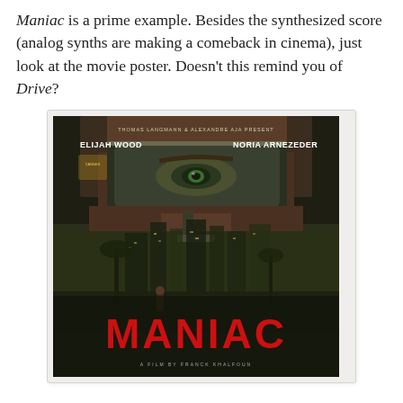Maniac is a prime example. Besides the synthesized score (analog synths are making a comeback in cinema), just look at the movie poster. Doesn't this remind you of Drive?
[Figure (photo): Movie poster for 'Maniac' featuring Elijah Wood and Noria Arnezeder. The poster shows a close-up of eyes reflected in a car rear-view mirror against a dark urban background, with the title MANIAC in large red letters at the bottom. Text reads 'A Film by Franck Khalfoun'.]